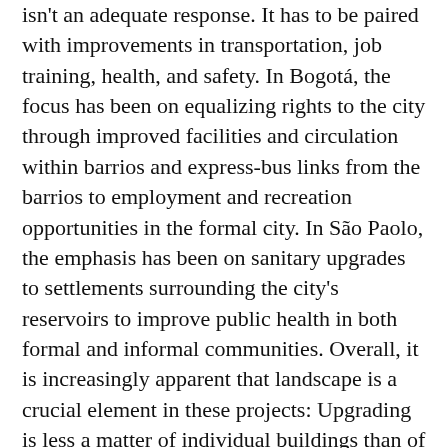isn't an adequate response. It has to be paired with improvements in transportation, job training, health, and safety. In Bogotá, the focus has been on equalizing rights to the city through improved facilities and circulation within barrios and express-bus links from the barrios to employment and recreation opportunities in the formal city. In São Paolo, the emphasis has been on sanitary upgrades to settlements surrounding the city's reservoirs to improve public health in both formal and informal communities. Overall, it is increasingly apparent that landscape is a crucial element in these projects: Upgrading is less a matter of individual buildings than of creating habitable environments and improved urban ecologies.
Where do we go from here? We have two chief